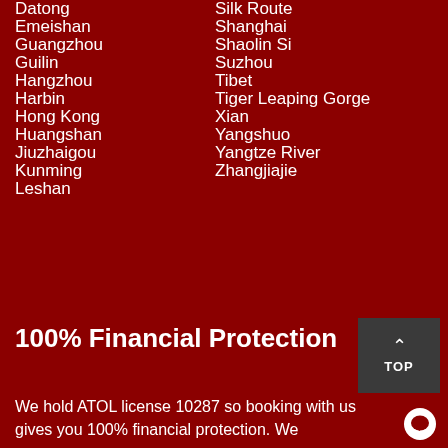Datong
Silk Route
Emeishan
Shanghai
Guangzhou
Shaolin Si
Guilin
Suzhou
Hangzhou
Tibet
Harbin
Tiger Leaping Gorge
Hong Kong
Xian
Huangshan
Yangshuo
Jiuzhaigou
Yangtze River
Kunming
Zhangjiajie
Leshan
100% Financial Protection
We hold ATOL license 10287 so booking with us gives you 100% financial protection. We